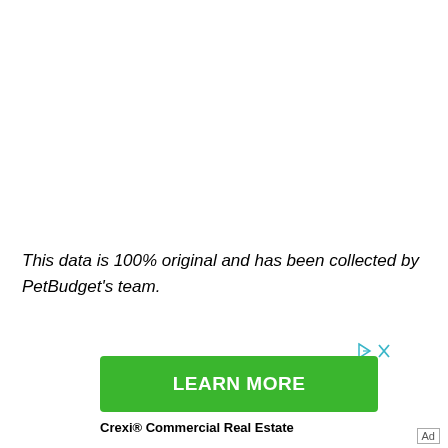This data is 100% original and has been collected by PetBudget's team.
[Figure (other): Advertisement banner with green LEARN MORE button for Crexi® Commercial Real Estate, with ad choice icons in top right]
Crexi® Commercial Real Estate
Ad